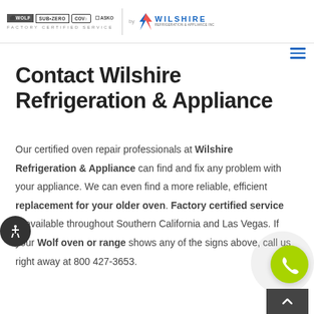Wolf Sub-Zero Cove ASKO by Wilshire Refrigeration & Appliance Inc – Factory Certified Service
Contact Wilshire Refrigeration & Appliance
Our certified oven repair professionals at Wilshire Refrigeration & Appliance can find and fix any problem with your appliance. We can even find a more reliable, efficient replacement for your older oven. Factory certified service is available throughout Southern California and Las Vegas. If your Wolf oven or range shows any of the signs above, call us right away at 800 427-3653.